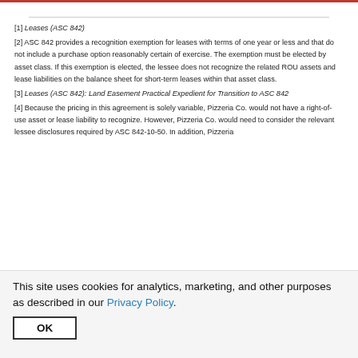[1] Leases (ASC 842)
[2] ASC 842 provides a recognition exemption for leases with terms of one year or less and that do not include a purchase option reasonably certain of exercise. The exemption must be elected by asset class. If this exemption is elected, the lessee does not recognize the related ROU assets and lease liabilities on the balance sheet for short-term leases within that asset class.
[3] Leases (ASC 842): Land Easement Practical Expedient for Transition to ASC 842
[4] Because the pricing in this agreement is solely variable, Pizzeria Co. would not have a right-of-use asset or lease liability to recognize. However, Pizzeria Co. would need to consider the relevant lessee disclosures required by ASC 842-10-50. In addition, Pizzeria
This site uses cookies for analytics, marketing, and other purposes as described in our Privacy Policy.